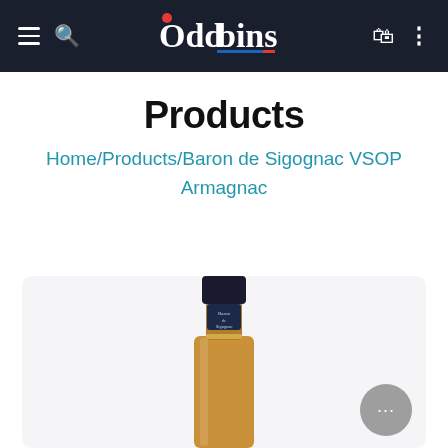Oddbins — navigation bar with hamburger menu, search, logo, bag and menu icons
Products
Home/Products/Baron de Sigognac VSOP Armagnac
[Figure (photo): Bottle of Baron de Sigognac VSOP Armagnac — dark cap and neck visible at bottom of product card]